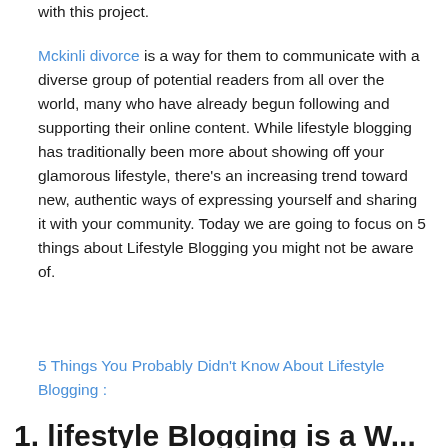with this project.
Mckinli divorce is a way for them to communicate with a diverse group of potential readers from all over the world, many who have already begun following and supporting their online content. While lifestyle blogging has traditionally been more about showing off your glamorous lifestyle, there's an increasing trend toward new, authentic ways of expressing yourself and sharing it with your community. Today we are going to focus on 5 things about Lifestyle Blogging you might not be aware of.
5 Things You Probably Didn't Know About Lifestyle Blogging :
1. lifestyle Blogging is a W...